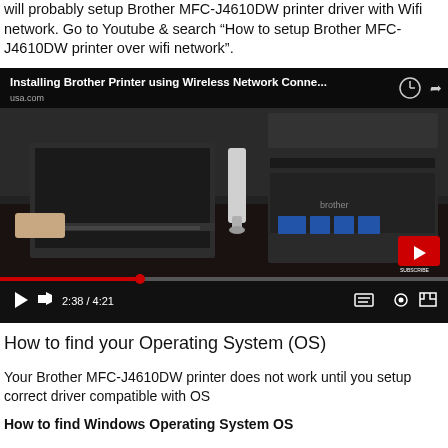will probably setup Brother MFC-J4610DW printer driver with Wifi network. Go to Youtube & search “How to setup Brother MFC-J4610DW printer over wifi network”.
[Figure (screenshot): YouTube video screenshot showing 'Installing Brother Printer using Wireless Network Conne...' with a laptop and Brother MFC printer on a desk. Video timestamp shows 2:38 / 4:21.]
How to find your Operating System (OS)
Your Brother MFC-J4610DW printer does not work until you setup correct driver compatible with OS
How to find Windows Operating System OS